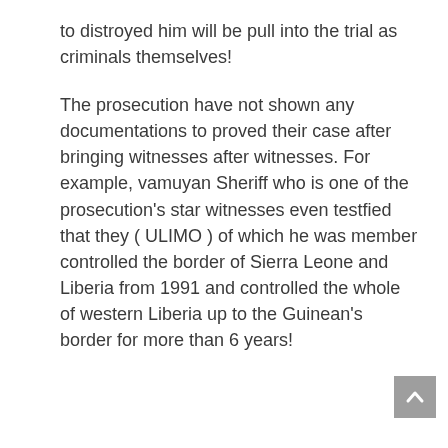to distroyed him will be pull into the trial as criminals themselves!
The prosecution have not shown any documentations to proved their case after bringing witnesses after witnesses. For example, vamuyan Sheriff who is one of the prosecution's star witnesses even testfied that they ( ULIMO ) of which he was member controlled the border of Sierra Leone and Liberia from 1991 and controlled the whole of western Liberia up to the Guinean's border for more than 6 years!